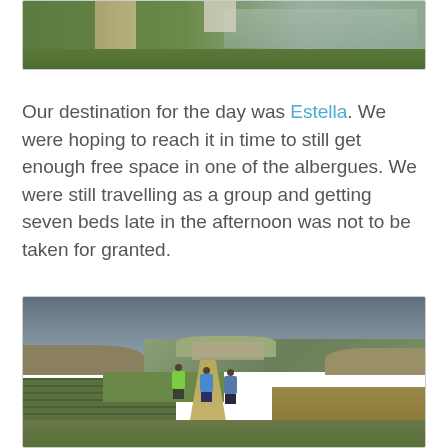[Figure (photo): Top portion of a photo showing a green landscape with a river or lake and a path, partially cropped at the top of the page]
Our destination for the day was Estella. We were hoping to reach it in time to still get enough free space in one of the albergues. We were still travelling as a group and getting seven beds late in the afternoon was not to be taken for granted.
[Figure (photo): Three hikers with backpacks walking on a dirt path through vineyards toward a hilltop village (Estella) under a dramatic cloudy sky in the Spanish countryside]